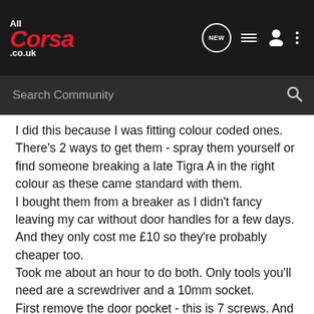[Figure (logo): AllCorsa.co.uk logo - red italic Corsa text with white All above and co.uk below, on dark background]
Search Community
I did this because I was fitting colour coded ones. There's 2 ways to get them - spray them yourself or find someone breaking a late Tigra A in the right colour as these came standard with them.
I bought them from a breaker as I didn't fancy leaving my car without door handles for a few days. And they only cost me £10 so they're probably cheaper too.
Took me about an hour to do both. Only tools you'll need are a screwdriver and a 10mm socket.
First remove the door pocket - this is 7 screws. And the mirror cover which you have to push upwards to remove.